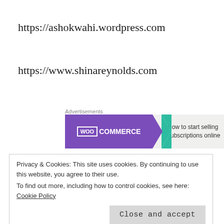https://ashokwahi.wordpress.com
https://www.shinareynolds.com
[Figure (other): WooCommerce advertisement banner: purple left side with WooCommerce logo and teal arrow, light grey right side with text 'How to start selling subscriptions online' and orange/blue decorative shapes. Labeled 'Advertisements' above.]
https://the1itinerary.com
Privacy & Cookies: This site uses cookies. By continuing to use this website, you agree to their use.
To find out more, including how to control cookies, see here: Cookie Policy
Close and accept